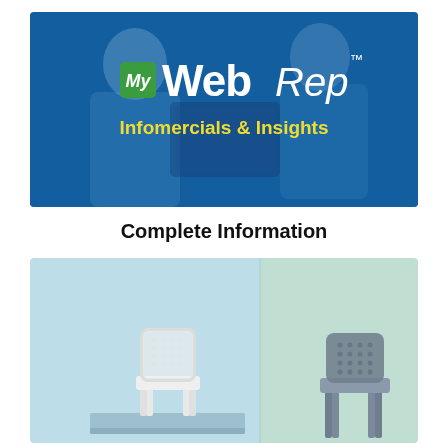[Figure (illustration): My WebRep banner with blue background showing two people looking at a tablet. Logo shows 'My' in green box followed by 'WebRep' in white with trademark symbol. Tagline reads 'Infomercials & Insights' in yellow.]
Complete Information
[Figure (photo): Product photo showing two chairs on a light blue/mint background. A white lattice-back chair on the left placed on a platform, and a gray/slate similar chair on the right.]